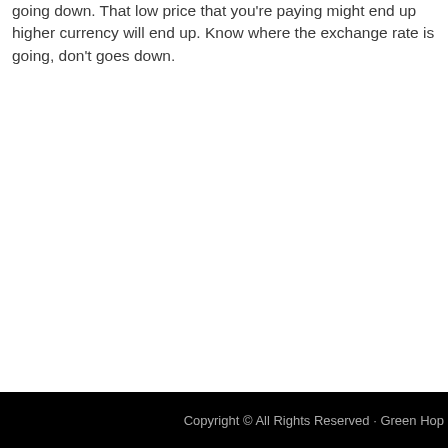going down. That low price that you're paying might end up higher currency will end up. Know where the exchange rate is going, don't goes down.
Copyright © All Rights Reserved · Green Hop